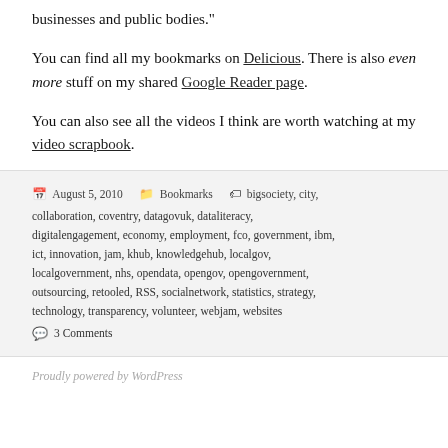businesses and public bodies."
You can find all my bookmarks on Delicious. There is also even more stuff on my shared Google Reader page.
You can also see all the videos I think are worth watching at my video scrapbook.
August 5, 2010   Bookmarks   bigsociety, city, collaboration, coventry, datagovuk, dataliteracy, digitalengagement, economy, employment, fco, government, ibm, ict, innovation, jam, khub, knowledgehub, localgov, localgovernment, nhs, opendata, opengov, opengovernment, outsourcing, retooled, RSS, socialnetwork, statistics, strategy, technology, transparency, volunteer, webjam, websites   3 Comments
Proudly powered by WordPress